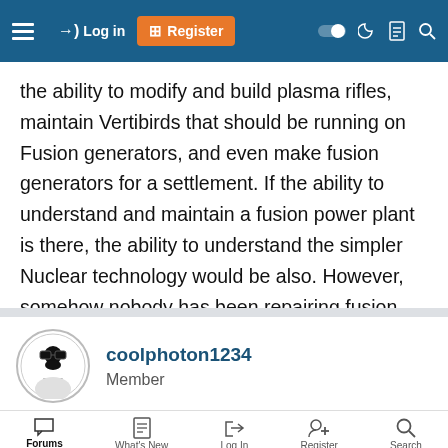Log in | Register
the ability to modify and build plasma rifles, maintain Vertibirds that should be running on Fusion generators, and even make fusion generators for a settlement. If the ability to understand and maintain a fusion power plant is there, the ability to understand the simpler Nuclear technology would be also. However, somehow nobody has been repairing fusion powered vehicles.
coolphoton1234
Member
Forums | What's New | Log In | Register | Search